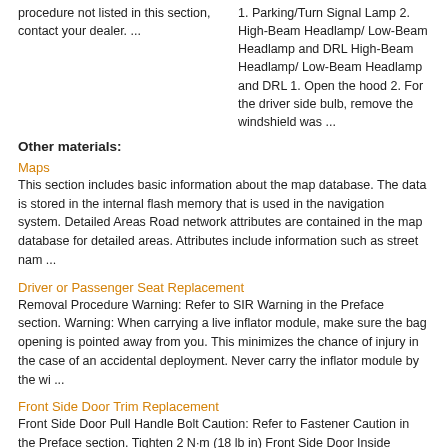procedure not listed in this section, contact your dealer. ...
1. Parking/Turn Signal Lamp 2. High-Beam Headlamp/ Low-Beam Headlamp and DRL High-Beam Headlamp/ Low-Beam Headlamp and DRL 1. Open the hood 2. For the driver side bulb, remove the windshield was ...
Other materials:
Maps
This section includes basic information about the map database. The data is stored in the internal flash memory that is used in the navigation system. Detailed Areas Road network attributes are contained in the map database for detailed areas. Attributes include information such as street nam ...
Driver or Passenger Seat Replacement
Removal Procedure Warning: Refer to SIR Warning in the Preface section. Warning: When carrying a live inflator module, make sure the bag opening is pointed away from you. This minimizes the chance of injury in the case of an accidental deployment. Never carry the inflator module by the wi ...
Front Side Door Trim Replacement
Front Side Door Pull Handle Bolt Caution: Refer to Fastener Caution in the Preface section. Tighten 2 N·m (18 lb in) Front Side Door Inside Handle